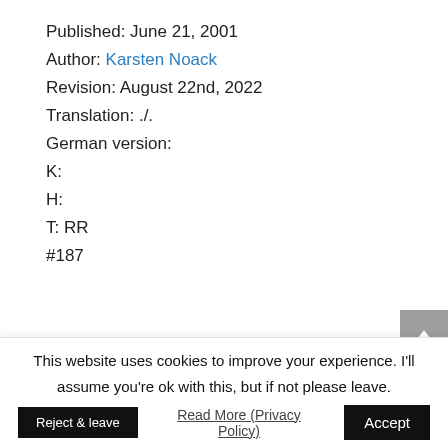Published: June 21, 2001
Author: Karsten Noack
Revision: August 22nd, 2022
Translation: ./.
German version:
K:
H:
T: RR
#187
This website uses cookies to improve your experience. I'll assume you're ok with this, but if not please leave.
Accept
Reject & leave
Read More (Privacy Policy)